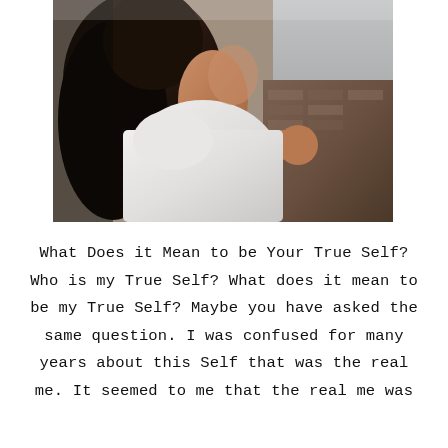[Figure (photo): A woman with long dark hair wearing a white sleeveless top, photographed from the side/back, leaning forward with arms resting on a surface, looking out a window. Brick wall visible in background. Black and white tones with warm skin tones.]
What Does it Mean to be Your True Self? Who is my True Self? What does it mean to be my True Self? Maybe you have asked the same question. I was confused for many years about this Self that was the real me. It seemed to me that the real me was